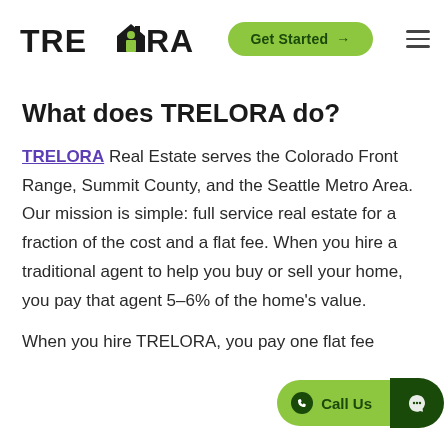TRELORA | Get Started →
What does TRELORA do?
TRELORA Real Estate serves the Colorado Front Range, Summit County, and the Seattle Metro Area. Our mission is simple: full service real estate for a fraction of the cost and a flat fee. When you hire a traditional agent to help you buy or sell your home, you pay that agent 5-6% of the home's value.

When you hire TRELORA, you pay one flat fee